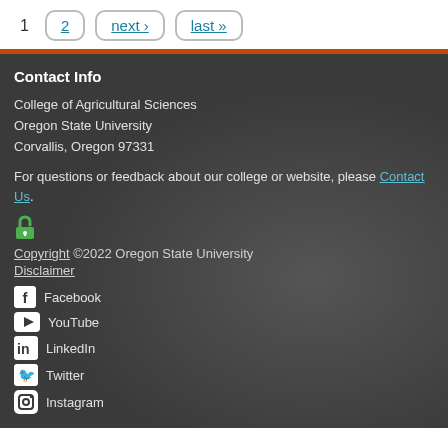1  2  next ›  last »
Contact Info
College of Agricultural Sciences
Oregon State University
Corvallis, Oregon 97331
For questions or feedback about our college or website, please Contact Us.
[Figure (other): Green lock/open access icon]
Copyright ©2022 Oregon State University
Disclaimer
Facebook
YouTube
LinkedIn
Twitter
Instagram